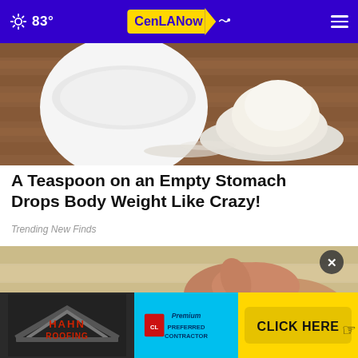83° CenLA Now
[Figure (photo): Close-up photo of a white bowl and a pile of white powder (sugar or salt) on a wooden surface]
A Teaspoon on an Empty Stomach Drops Body Weight Like Crazy!
Trending New Finds
[Figure (photo): Photo of a person's hand touching or massaging their ankle/foot on a light wooden floor]
[Figure (other): Advertisement banner for Hahn Roofing with a Click Here button]